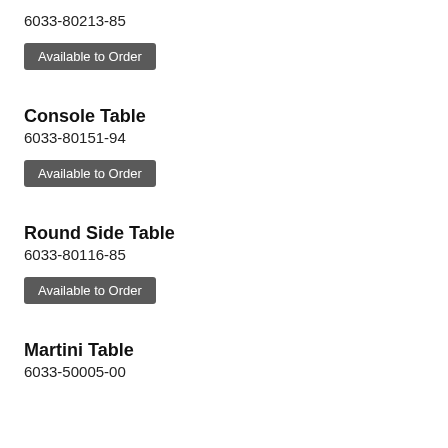6033-80213-85
Available to Order
Console Table
6033-80151-94
Available to Order
Round Side Table
6033-80116-85
Available to Order
Martini Table
6033-50005-00